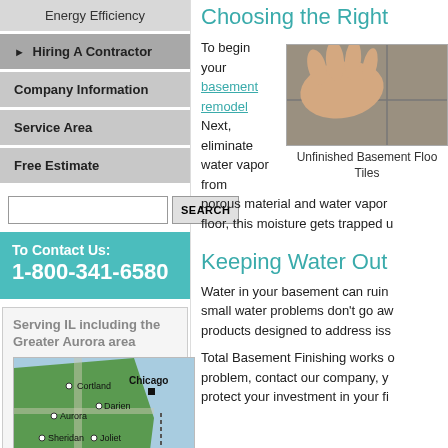Energy Efficiency
▶ Hiring A Contractor
Company Information
Service Area
Free Estimate
SEARCH
To Contact Us: 1-800-341-6580
Serving IL including the Greater Aurora area
[Figure (map): Map of Illinois area showing Cortland, Aurora, Darien, Chicago, Sheridan, Joliet locations]
Choosing the Right
To begin your basement remodel Next, eliminate water vapor from porous material and water vapor floor, this moisture gets trapped u
[Figure (photo): Hand touching unfinished basement floor tiles]
Unfinished Basement Floor Tiles
Keeping Water Out
Water in your basement can ruin small water problems don't go aw products designed to address iss
Total Basement Finishing works o problem, contact our company, y protect your investment in your fi